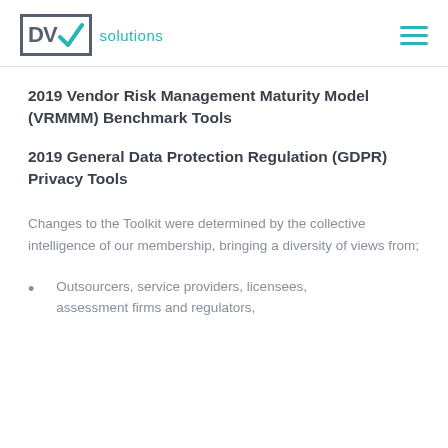DVV solutions
2019 Vendor Risk Management Maturity Model (VRMMM) Benchmark Tools
2019 General Data Protection Regulation (GDPR) Privacy Tools
Changes to the Toolkit were determined by the collective intelligence of our membership, bringing a diversity of views from;
Outsourcers, service providers, licensees, assessment firms and regulators,